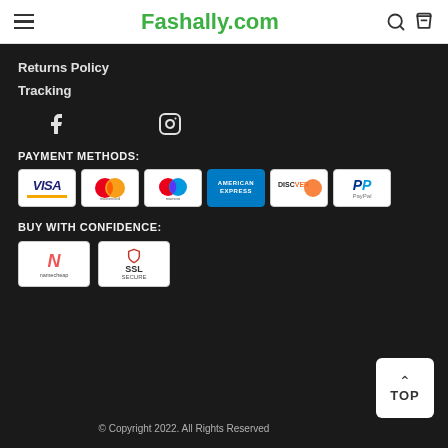Fashally.com
Returns Policy
Tracking
[Figure (other): Facebook and Instagram social media icons]
PAYMENT METHODS:
[Figure (other): Payment method badges: Visa, Mastercard, Maestro, American Express, Discover, PayPal]
BUY WITH CONFIDENCE:
[Figure (other): Trust badges: Namecheap and SSL Secure]
© Copyright 2022. All Rights Reserved